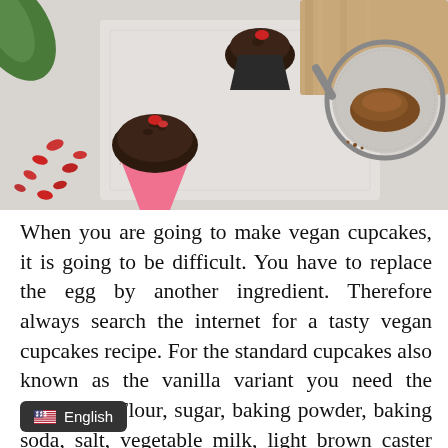[Figure (photo): Overhead/flat-lay photo of chocolate vegan cupcakes in pink paper liners topped with goji berries, surrounded by scattered goji berries, a cocoa powder sifter, and a wooden serving board on a white lace doily background.]
When you are going to make vegan cupcakes, it is going to be difficult. You have to replace the egg by another ingredient. Therefore always search the internet for a tasty vegan cupcakes recipe. For the standard cupcakes also known as the vanilla variant you need the following: Flour, sugar, baking powder, baking soda, salt, vegetable milk, light brown caster sugar and vanilla extract. The egg is replaced with sunflower oil in this recipe. It's a variation and maybe even better in taste as much baking time as normal